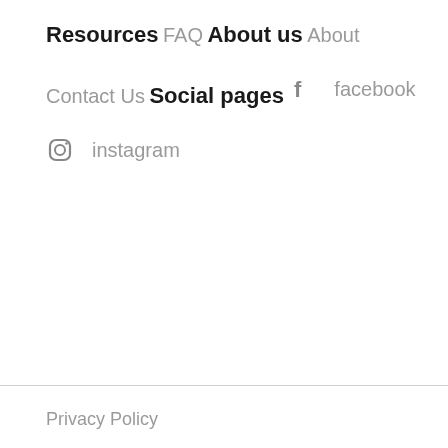Resources
FAQ
About us
About
Contact Us
Social pages
facebook
instagram
Privacy Policy